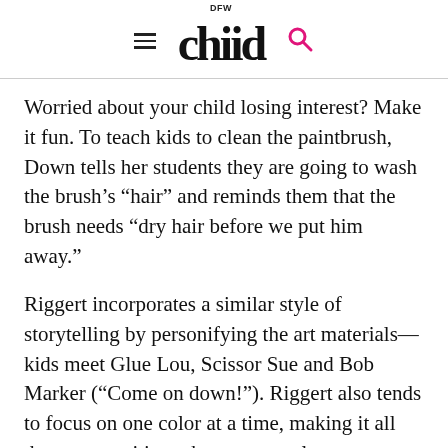DFW Child
Worried about your child losing interest? Make it fun. To teach kids to clean the paintbrush, Down tells her students they are going to wash the brush's “hair” and reminds them that the brush needs “dry hair before we put him away.”
Riggert incorporates a similar style of storytelling by personifying the art materials—kids meet Glue Lou, Scissor Sue and Bob Marker (“Come on down!”). Riggert also tends to focus on one color at a time, making it all the more exciting when a new color comes out.
For Andrew and Jennifer Snow, whose children